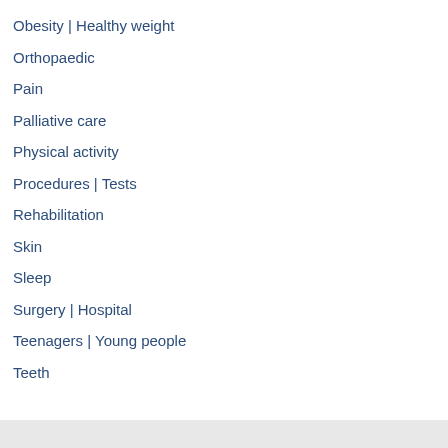Obesity | Healthy weight
Orthopaedic
Pain
Palliative care
Physical activity
Procedures | Tests
Rehabilitation
Skin
Sleep
Surgery | Hospital
Teenagers | Young people
Teeth